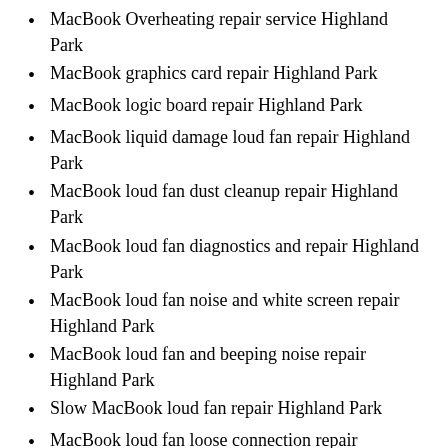MacBook Overheating repair service Highland Park
MacBook graphics card repair Highland Park
MacBook logic board repair Highland Park
MacBook liquid damage loud fan repair Highland Park
MacBook loud fan dust cleanup repair Highland Park
MacBook loud fan diagnostics and repair Highland Park
MacBook loud fan noise and white screen repair Highland Park
MacBook loud fan and beeping noise repair Highland Park
Slow MacBook loud fan repair Highland Park
MacBook loud fan loose connection repair Highland Park